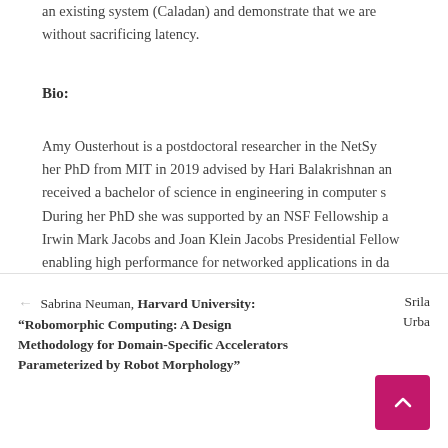an existing system (Caladan) and demonstrate that we are without sacrificing latency.
Bio:
Amy Ousterhout is a postdoctoral researcher in the NetSy her PhD from MIT in 2019 advised by Hari Balakrishnan and received a bachelor of science in engineering in computer s During her PhD she was supported by an NSF Fellowship a Irwin Mark Jacobs and Joan Klein Jacobs Presidential Fellow enabling high performance for networked applications in da
← Sabrina Neuman, Harvard University: "Robomorphic Computing: A Design Methodology for Domain-Specific Accelerators Parameterized by Robot Morphology"
Srila Urba